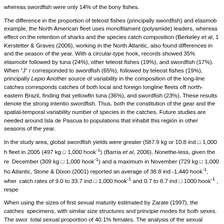whereas swordfish were only 14% of the bony fishes.
The difference in the proportion of teleost fishes (principally swordfish) and elasmob example, the North American fleet uses monofilament (polyamide) leaders, whereas effect on the retention of sharks and the species catch composition (Berkeley et al, 1 Kerstetter & Graves (2006), working in the North Atlantic, also found differences in and the season of the year. With a circular-type hook, records showed 35% elasmobr followed by tuna (24%), other teleost fishes (19%), and swordfish (17%). When "J" r corresponded to swordfish (65%), followed by teleost fishes (19%), principally Lepio Another source of variability in the composition of the long-line catches corresponds catches of both local and foreign longline fleets off north-eastern Brazil, finding that yellowfin tuna (36%), and swordfish (23%). These results denote the strong intentio swordfish. Thus, both the constitution of the gear and the spatial-temporal variability number of species in the catches. Future studies are needed around Isla de Pascua to populations that inhabit this region in other seasons of the year.
In the study area, global swordfish yields were greater (587.9 kg or 10.8 ind □ 1,000 fleet in 2005 (497 kg □ 1,000 hook⁻¹) (Barria et al, 2006). Nonethe-less, given the re December (309 kg □ 1,000 hook⁻¹) and a maximum in November (729 kg □ 1,000 ho Atlantic, Stone & Dixon (2001) reported an average of 38.8 ind -1,440 hook⁻¹, wher catch rates of 9.0 to 33.7 ind □ 1,000 hook⁻¹ and 0.7 to 8.7 ind □ 1000 hook⁻¹ , respe
When using the sizes of first sexual maturity estimated by Zarate (1997), the catches specimens, with similar size structures and principie modes for both sexes. The swor total sexual proportion of 40.1% females. The analysis of the sexual proportion by si predominant in sizes smaller than 240 cm LJFL, after which the female proportion is Manday (1964 fide Taylor & Murphy, 1992), Mejuto et al. (1995) and Arocha & Lee 230 cm are generally females, since the males have a lower growth rate and a shorte